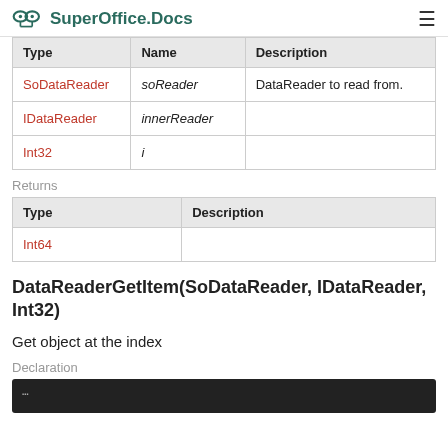SuperOffice.Docs
| Type | Name | Description |
| --- | --- | --- |
| SoDataReader | soReader | DataReader to read from. |
| IDataReader | innerReader |  |
| Int32 | i |  |
Returns
| Type | Description |
| --- | --- |
| Int64 |  |
DataReaderGetItem(SoDataReader, IDataReader, Int32)
Get object at the index
Declaration